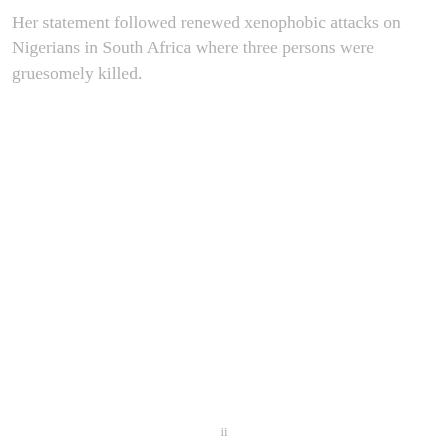Her statement followed renewed xenophobic attacks on Nigerians in South Africa where three persons were gruesomely killed.
ii